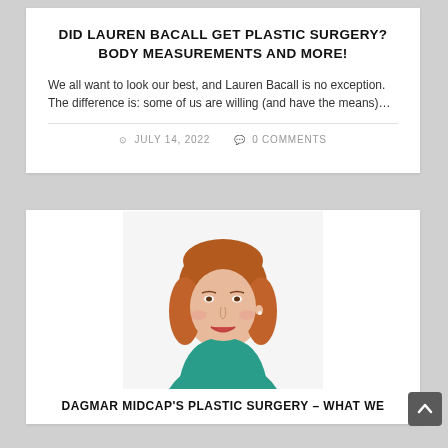DID LAUREN BACALL GET PLASTIC SURGERY? BODY MEASUREMENTS AND MORE!
We all want to look our best, and Lauren Bacall is no exception. The difference is: some of us are willing (and have the means)…
JULY 14, 2022  0 COMMENTS
[Figure (photo): Portrait photo of a woman with auburn shoulder-length hair wearing a teal top, smiling]
DAGMAR MIDCAP'S PLASTIC SURGERY – WHAT WE